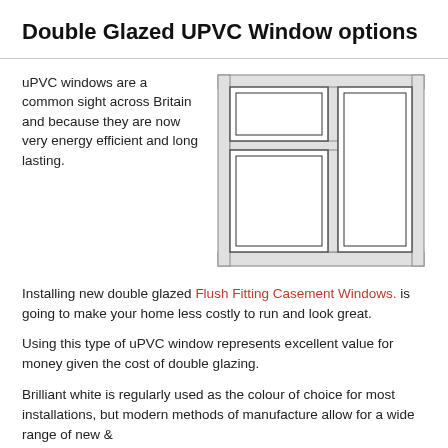Double Glazed UPVC Window options
[Figure (illustration): Line drawing of a double glazed UPVC casement window with two panels: a smaller top-left pane and a larger right pane, plus a larger bottom-left pane.]
uPVC windows are a common sight across Britain and because they are now very energy efficient and long lasting.
Installing new double glazed Flush Fitting Casement Windows. is going to make your home less costly to run and look great.
Using this type of uPVC window represents excellent value for money given the cost of double glazing.
Brilliant white is regularly used as the colour of choice for most installations, but modern methods of manufacture allow for a wide range of new &